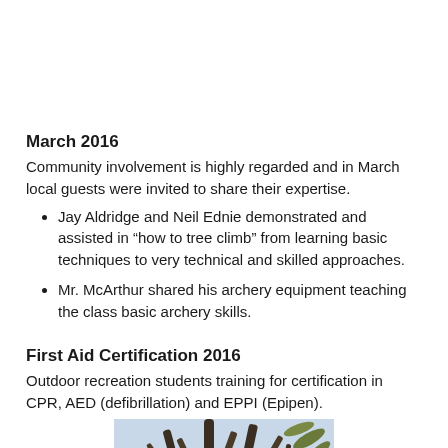March 2016
Community involvement is highly regarded and in March local guests were invited to share their expertise.
Jay Aldridge and Neil Ednie demonstrated and assisted in “how to tree climb” from learning basic techniques to very technical and skilled approaches.
Mr. McArthur shared his archery equipment teaching the class basic archery skills.
First Aid Certification 2016
Outdoor recreation students training for certification in CPR, AED (defibrillation) and EPPI (Epipen).
[Figure (photo): Photo of tree branches against a light sky, partially visible at bottom of page.]